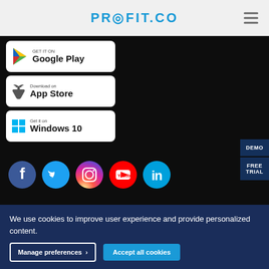PROFIT.CO
[Figure (logo): Google Play store download button]
[Figure (logo): Apple App Store download button]
[Figure (logo): Windows 10 Get it on button]
[Figure (logo): DEMO button on right side]
[Figure (logo): FREE TRIAL button on right side]
[Figure (logo): Social media icons: Facebook, Twitter, Instagram, YouTube, LinkedIn]
[Figure (logo): Certification logos: HIPAA, AICPA, EU stars]
We use cookies to improve user experience and provide personalized content.
Manage preferences  Accept all cookies